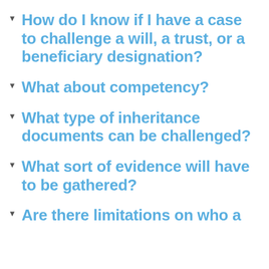How do I know if I have a case to challenge a will, a trust, or a beneficiary designation?
What about competency?
What type of inheritance documents can be challenged?
What sort of evidence will have to be gathered?
Are there limitations on who a